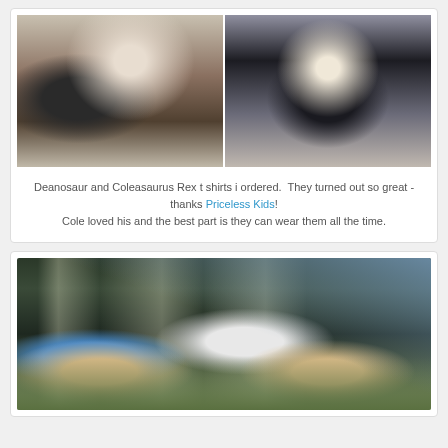[Figure (photo): Two photos side by side of children wearing dinosaur themed t-shirts (Deanosaur and Coleasaurus Rex). Left: baby/toddler in dark navy dinosaur shirt standing indoors. Right: older toddler boy in dark navy dinosaur shirt smiling indoors.]
Deanosaur and Coleasaurus Rex t shirts i ordered.  They turned out so great - thanks Priceless Kids! Cole loved his and the best part is they can wear them all the time.
[Figure (photo): Outdoor backyard photo showing A-frame tent/teepee structures on a lawn. One tent has blue fabric, another has white/grey canvas. String lights are strung between poles. Trees and fence visible in background.]